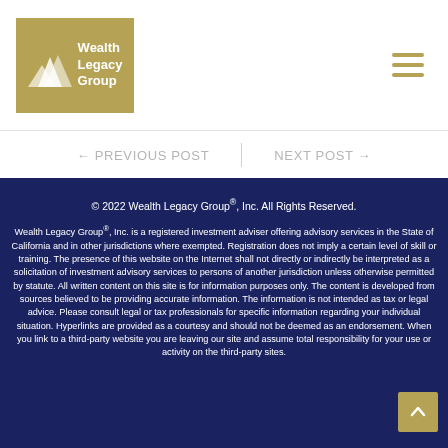[Figure (logo): Wealth Legacy Group logo — gold/tan mountain graphic on left, white text 'Wealth Legacy Group' on right, inside a gold rectangular box]
Previous Post | Next Post
© 2022 Wealth Legacy Group®, Inc. All Rights Reserved. Wealth Legacy Group®, Inc. is a registered investment adviser offering advisory services in the State of California and in other jurisdictions where exempted. Registration does not imply a certain level of skill or training. The presence of this website on the Internet shall not directly or indirectly be interpreted as a solicitation of investment advisory services to persons of another jurisdiction unless otherwise permitted by statute. All written content on this site is for information purposes only. The content is developed from sources believed to be providing accurate information. The information is not intended as tax or legal advice. Please consult legal or tax professionals for specific information regarding your individual situation. Hyperlinks are provided as a courtesy and should not be deemed as an endorsement. When you link to a third-party website you are leaving our site and assume total responsibility for your use or activity on the third-party sites.